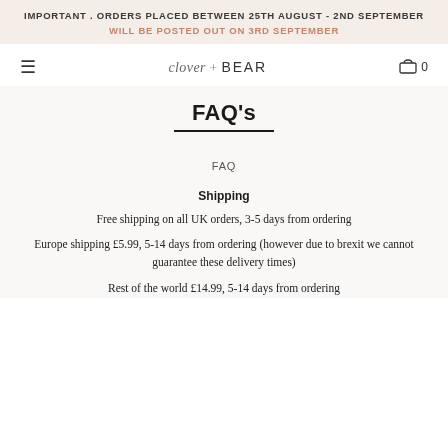IMPORTANT . ORDERS PLACED BETWEEN 25TH AUGUST - 2ND SEPTEMBER
WILL BE POSTED OUT ON 3RD SEPTEMBER
[Figure (logo): Clover + BEAR logo with hamburger menu icon on left and cart icon with 0 on right]
FAQ's
FAQ
Shipping
Free shipping on all UK orders, 3-5 days from ordering
Europe shipping £5.99, 5-14 days from ordering (however due to brexit we cannot guarantee these delivery times)
Rest of the world £14.99, 5-14 days from ordering